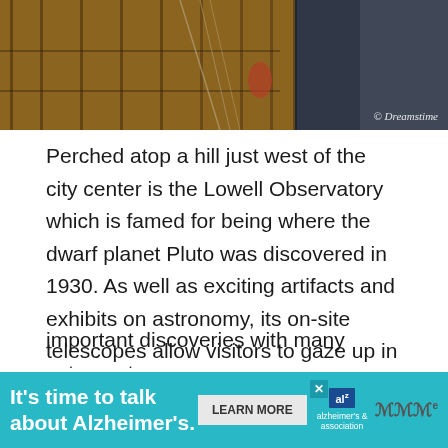[Figure (photo): Interior photo of the Lowell Observatory dome structure, showing wooden beams and telescope equipment with warm amber and dark tones. © Dreamstime watermark visible in lower right.]
Perched atop a hill just west of the city center is the Lowell Observatory which is famed for being where the dwarf planet Pluto was discovered in 1930. As well as exciting artifacts and exhibits on astronomy, its on-site telescopes allow visitors to gaze up in awe at the star-studded night sky.
One of the oldest observatories in the States, it was established way back in 1894 and is named after the astronomer Percival Lowell who set up the site. Over the years, the research center has made a number of important discoveries with many astronomers and astronauts ha... ... Apollo
[Figure (other): Advertisement banner: It's time to talk about Alzheimer's. LEARN MORE button. Alzheimer's Association logo.]